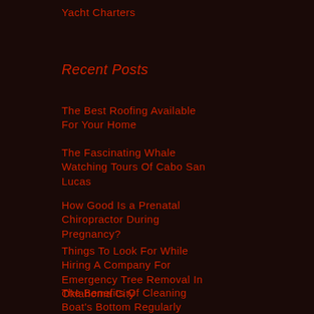Yacht Charters
Recent Posts
The Best Roofing Available For Your Home
The Fascinating Whale Watching Tours Of Cabo San Lucas
How Good Is a Prenatal Chiropractor During Pregnancy?
Things To Look For While Hiring A Company For Emergency Tree Removal In Oklahoma City
The Benefits Of Cleaning Boat's Bottom Regularly